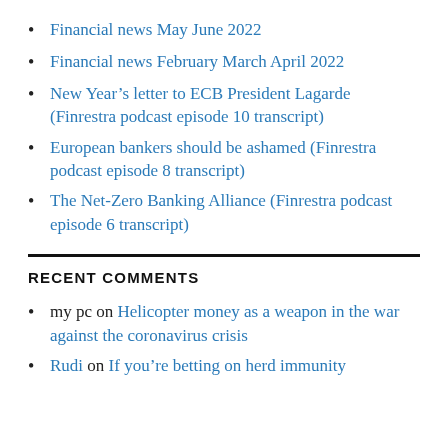Financial news May June 2022
Financial news February March April 2022
New Year's letter to ECB President Lagarde (Finrestra podcast episode 10 transcript)
European bankers should be ashamed (Finrestra podcast episode 8 transcript)
The Net-Zero Banking Alliance (Finrestra podcast episode 6 transcript)
RECENT COMMENTS
my pc on Helicopter money as a weapon in the war against the coronavirus crisis
Rudi on If you're betting on herd immunity